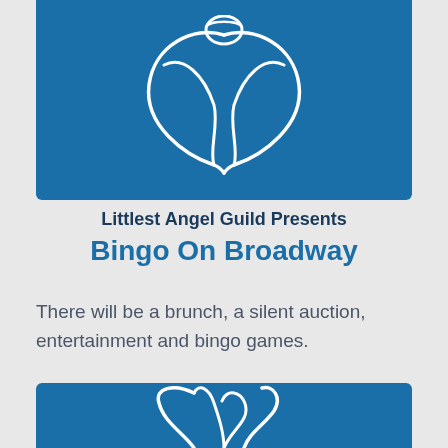[Figure (illustration): Blue banner with white angel/butterfly outline illustration at top]
Littlest Angel Guild Presents
Bingo On Broadway
There will be a brunch, a silent auction, entertainment and bingo games.
Register Now
[Figure (illustration): Blue banner with white illustration at bottom, partially visible]